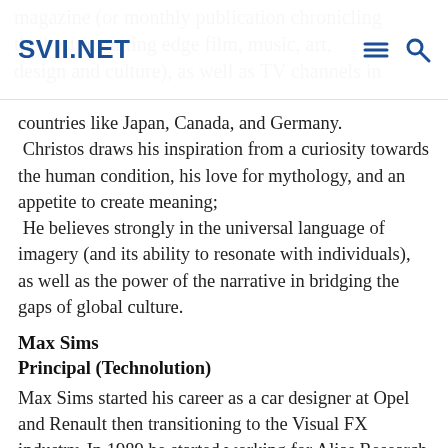SVII.NET
countries like Japan, Canada, and Germany. Christos draws his inspiration from a curiosity towards the human condition, his love for mythology, and an appetite to create meaning; He believes strongly in the universal language of imagery (and its ability to resonate with individuals), as well as the power of the narrative in bridging the gaps of global culture.
Max Sims
Principal (Technolution)
Max Sims started his career as a car designer at Opel and Renault then transitioning to the Visual FX industry. In 1989 he started working for Alias Research . Max has consulted to many of the leading manufacturers, design consultancies and VFX/animation houses such